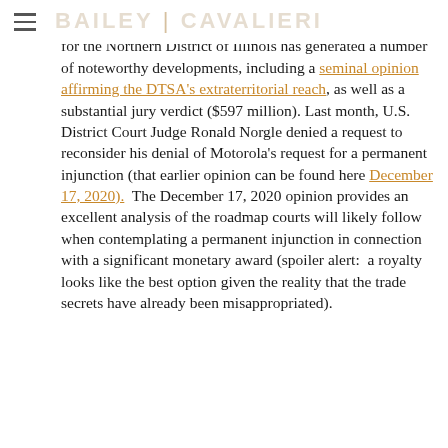BAILEY | CAVALIERI
The Motorola v. Hytera litigation in the U.S. District Court for the Northern District of Illinois has generated a number of noteworthy developments, including a seminal opinion affirming the DTSA's extraterritorial reach, as well as a substantial jury verdict ($597 million). Last month, U.S. District Court Judge Ronald Norgle denied a request to reconsider his denial of Motorola's request for a permanent injunction (that earlier opinion can be found here December 17, 2020). The December 17, 2020 opinion provides an excellent analysis of the roadmap courts will likely follow when contemplating a permanent injunction in connection with a significant monetary award (spoiler alert: a royalty looks like the best option given the reality that the trade secrets have already been misappropriated).